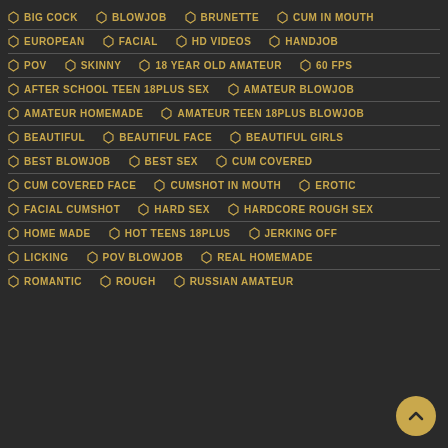BIG COCK
BLOWJOB
BRUNETTE
CUM IN MOUTH
EUROPEAN
FACIAL
HD VIDEOS
HANDJOB
POV
SKINNY
18 YEAR OLD AMATEUR
60 FPS
AFTER SCHOOL TEEN 18PLUS SEX
AMATEUR BLOWJOB
AMATEUR HOMEMADE
AMATEUR TEEN 18PLUS BLOWJOB
BEAUTIFUL
BEAUTIFUL FACE
BEAUTIFUL GIRLS
BEST BLOWJOB
BEST SEX
CUM COVERED
CUM COVERED FACE
CUMSHOT IN MOUTH
EROTIC
FACIAL CUMSHOT
HARD SEX
HARDCORE ROUGH SEX
HOME MADE
HOT TEENS 18PLUS
JERKING OFF
LICKING
POV BLOWJOB
REAL HOMEMADE
ROMANTIC
ROUGH
RUSSIAN AMATEUR